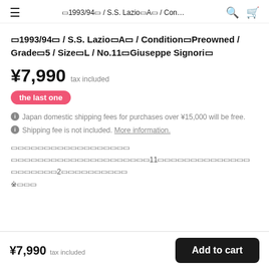≡  ⊠1993/94⊠ / S.S. Lazio⊠A⊠ / Con...  🔍  🛒
⊠1993/94⊠ / S.S. Lazio⊠A⊠ / Condition⊠Preowned / Grade⊠5 / Size⊠L / No.11⊠Giuseppe Signori⊠
¥7,990  tax included
the last one
ⓘ Japan domestic shipping fees for purchases over ¥15,000 will be free.
ⓘ Shipping fee is not included. More information.
⊠⊠⊠⊠⊠⊠⊠⊠⊠⊠⊠⊠⊠⊠⊠⊠⊠⊠
⊠⊠⊠⊠⊠⊠⊠⊠⊠⊠⊠⊠⊠⊠⊠⊠⊠⊠⊠⊠⊠11⊠⊠⊠⊠⊠⊠⊠⊠⊠⊠⊠⊠⊠⊠
⊠⊠⊠⊠⊠⊠⊠2⊠⊠⊠⊠⊠⊠⊠⊠⊠⊠
※⊠⊠⊠
¥7,990  tax included  Add to cart